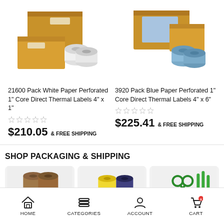[Figure (photo): Cardboard boxes stacked with two white label rolls in front]
21600 Pack White Paper Perforated 1" Core Direct Thermal Labels 4" x 1"
★★★★★ (empty stars)
$210.05  & FREE SHIPPING
[Figure (photo): Cardboard boxes stacked with two blue label rolls in front]
3920 Pack Blue Paper Perforated 1" Core Direct Thermal Labels 4" x 6"
★★★★★ (empty stars)
$225.41  & FREE SHIPPING
SHOP PACKAGING & SHIPPING
[Figure (photo): Brown kraft paper rolls]
[Figure (photo): Yellow and blue/purple tape rolls]
[Figure (photo): Green scissors and zip ties]
HOME  CATEGORIES  ACCOUNT  CART